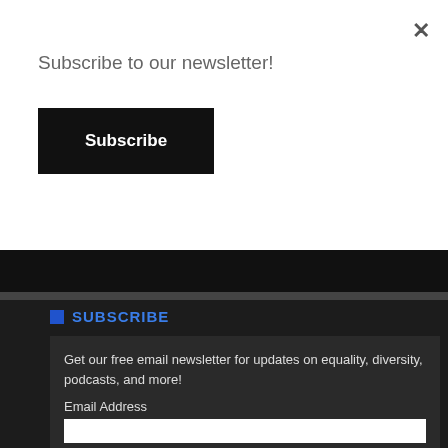Subscribe to our newsletter!
Subscribe
SUBSCRIBE
Get our free email newsletter for updates on equality, diversity, podcasts, and more!
Email Address
Submit